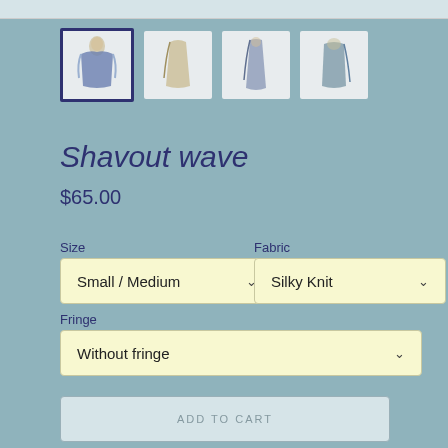[Figure (photo): Four product thumbnail images of a Shavout wave shawl/wrap garment shown from different angles. First thumbnail has dark navy border indicating selection.]
Shavout wave
$65.00
Size
Fabric
Fringe
Small / Medium (dropdown)
Silky Knit (dropdown)
Without fringe (dropdown)
ADD TO CART